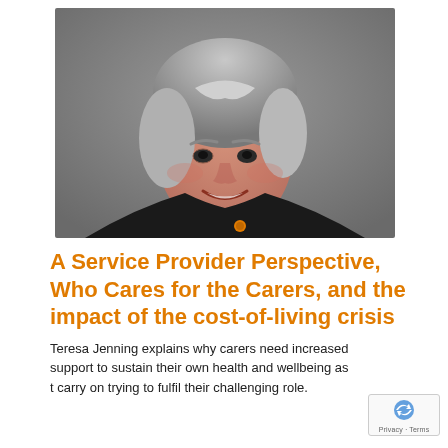[Figure (photo): Professional headshot of a woman with short grey hair, smiling, wearing a black blazer with an orange button detail, against a grey background.]
A Service Provider Perspective, Who Cares for the Carers, and the impact of the cost-of-living crisis
Teresa Jenning explains why carers need increased support to sustain their own health and wellbeing as they carry on trying to fulfil their challenging role.